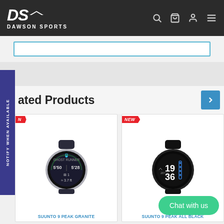DS DAWSON SPORTS
[Figure (screenshot): Dawson Sports website screenshot showing logo with DS initials and DAWSON SPORTS brand name in dark header bar with search, cart, account and menu icons]
ated Products
NOTIFY WHEN AVAILABLE
[Figure (photo): Product card for Suunto 9 Peak Granite watch with NEW badge, showing black sports watch with ghost runner display showing 5:50 and 5:28 times]
[Figure (photo): Product card for Suunto 9 Peak All Black watch with NEW badge, showing all black sports watch displaying time 19:36]
Chat with us
SUUNTO 9 PEAK GRANITE
SUUNTO 9 PEAK ALL BLACK